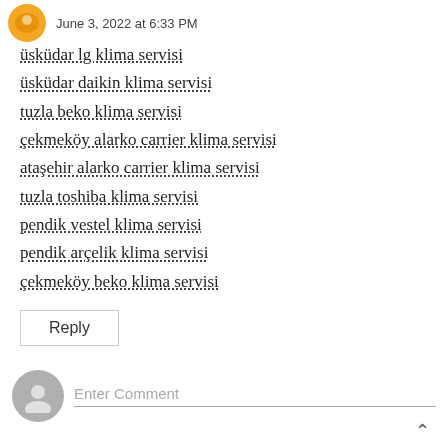June 3, 2022 at 6:33 PM
üsküdar lg klima servisi
üsküdar daikin klima servisi
tuzla beko klima servisi
çekmeköy alarko carrier klima servisi
ataşehir alarko carrier klima servisi
tuzla toshiba klima servisi
pendik vestel klima servisi
pendik arçelik klima servisi
çekmeköy beko klima servisi
Reply
Enter Comment